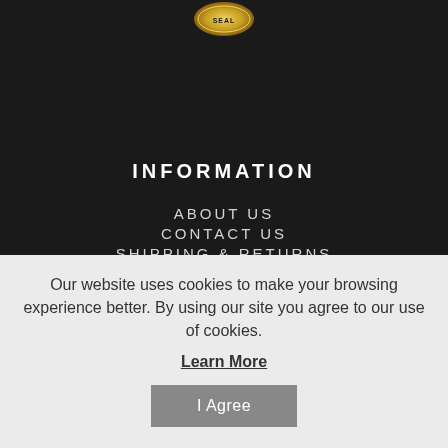[Figure (logo): Gold emblem/seal logo at top center on dark background]
INFORMATION
ABOUT US
CONTACT US
SHIPPING & RETURNS
Our website uses cookies to make your browsing experience better. By using our site you agree to our use of cookies.
Learn More
I Agree